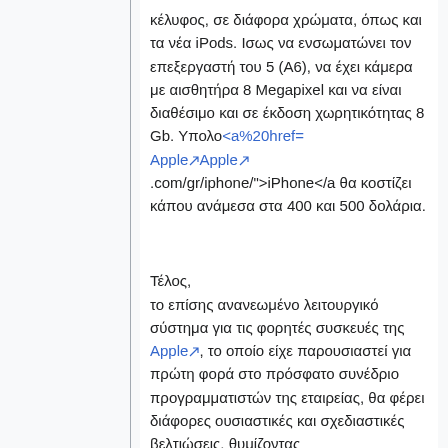κέλυφος, σε διάφορα χρώματα, όπως και τα νέα iPods. Ισως να ενσωματώνει τον επεξεργαστή του 5 (A6), να έχει κάμερα με αισθητήρα 8 Megapixel και να είναι διαθέσιμο και σε έκδοση χωρητικότητας 8 Gb. Υπολο<a%20href= Apple Apple .com/gr/iphone/">iPhone</a θα κοστίζει κάπου ανάμεσα στα 400 και 500 δολάρια.
Τέλος, το επίσης ανανεωμένο λειτουργικό σύστημα για τις φορητές συσκευές της Apple, το οποίο είχε παρουσιαστεί για πρώτη φορά στο πρόσφατο συνέδριο προγραμματιστών της εταιρείας, θα φέρει διάφορες ουσιαστικές και σχεδιαστικές βελτιώσεις, θυμίζοντας